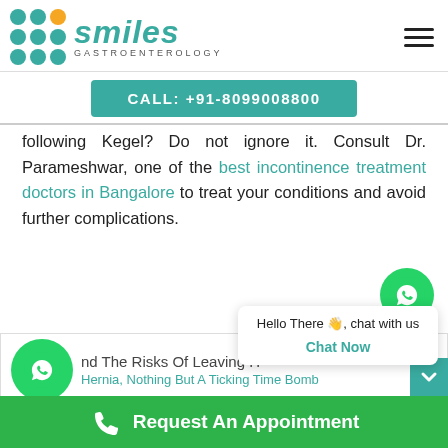[Figure (logo): Smiles Gastroenterology logo with teal dot grid and orange accent dot]
CALL: +91-8099008800
following Kegel? Do not ignore it. Consult Dr. Parameshwar, one of the best incontinence treatment doctors in Bangalore to treat your conditions and avoid further complications.
[Figure (screenshot): WhatsApp chat widget with 'Hello There 👋, chat with us' popup and Chat Now button]
nd The Risks Of Leaving H
Hernia, Nothing But A Ticking Time Bomb
Request An Appointment